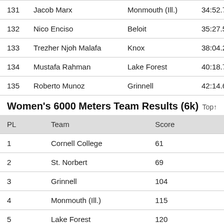|  | Name | School | Time |  |
| --- | --- | --- | --- | --- |
| 131 | Jacob Marx | Monmouth (Ill.) | 34:52.7 |  |
| 132 | Nico Enciso | Beloit | 35:27.5 |  |
| 133 | Trezher Njoh Malafa | Knox | 38:04.2 |  |
| 134 | Mustafa Rahman | Lake Forest | 40:18.7 |  |
| 135 | Roberto Munoz | Grinnell | 42:14.6 |  |
Women's 6000 Meters Team Results (6k)
| PL | Team | Score |
| --- | --- | --- |
| 1 | Cornell College | 61 |
| 2 | St. Norbert | 69 |
| 3 | Grinnell | 104 |
| 4 | Monmouth (Ill.) | 115 |
| 5 | Lake Forest | 120 |
| 6 | Carroll | 127 |